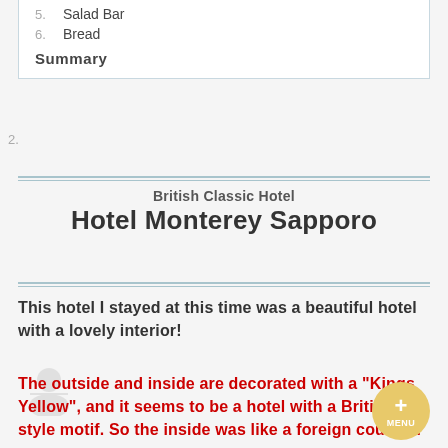5. Salad Bar
6. Bread
Summary
2.
British Classic Hotel
Hotel Monterey Sapporo
This hotel I stayed at this time was a beautiful hotel with a lovely interior!
The outside and inside are decorated with a "Kings Yellow", and it seems to be a hotel with a British style motif. So the inside was like a foreign country!